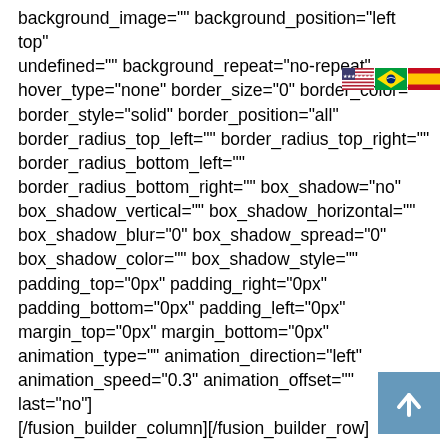background_image="" background_position="left top" undefined="" background_repeat="no-repeat" hover_type="none" border_size="0" border_color="" border_style="solid" border_position="all" border_radius_top_left="" border_radius_top_right="" border_radius_bottom_left="" border_radius_bottom_right="" box_shadow="no" box_shadow_vertical="" box_shadow_horizontal="" box_shadow_blur="0" box_shadow_spread="0" box_shadow_color="" box_shadow_style="" padding_top="0px" padding_right="0px" padding_bottom="0px" padding_left="0px" margin_top="0px" margin_bottom="0px" animation_type="" animation_direction="left" animation_speed="0.3" animation_offset="" last="no"] [/fusion_builder_column][/fusion_builder_row]
[Figure (other): Three country flag icons: USA, Brazil, Spain]